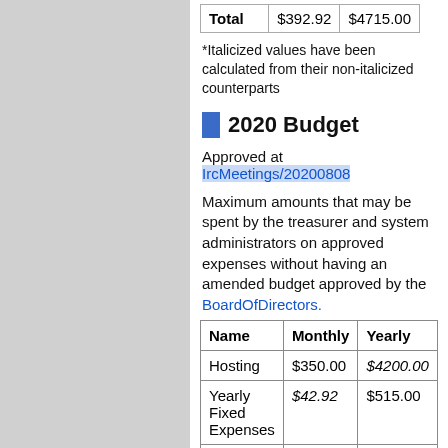|  | Monthly | Yearly |
| --- | --- | --- |
| Total | $392.92 | $4715.00 |
*Italicized values have been calculated from their non-italicized counterparts
2020 Budget
Approved at IrcMeetings/20200808
Maximum amounts that may be spent by the treasurer and system administrators on approved expenses without having an amended budget approved by the BoardOfDirectors.
| Name | Monthly | Yearly |
| --- | --- | --- |
| Hosting | $350.00 | $4200.00 |
| Yearly Fixed Expenses | $42.92 | $515.00 |
| Total | $392.92 | $4715.00 |
*Italicized values have been calculated from their non-italicized counterparts